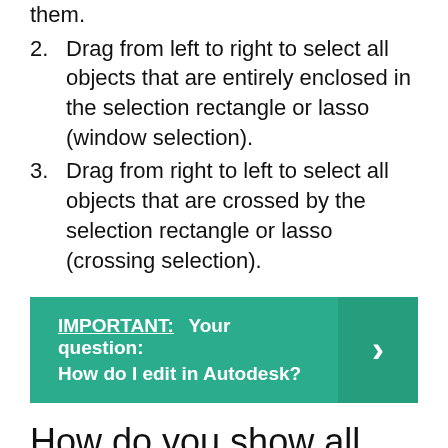them.
2. Drag from left to right to select all objects that are entirely enclosed in the selection rectangle or lasso (window selection).
3. Drag from right to left to select all objects that are crossed by the selection rectangle or lasso (crossing selection).
IMPORTANT:  Your question: How do I edit in Autodesk?
How do you show all objects in Autocad?
To Display all Boundary Objects in the